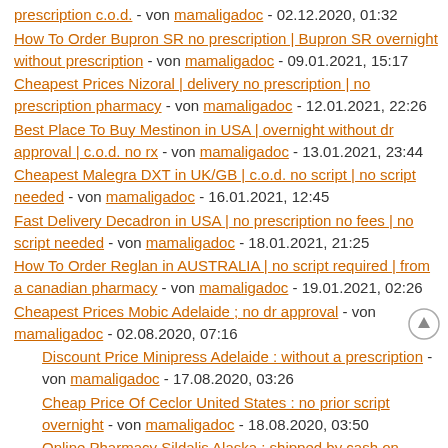prescription c.o.d. - von mamaligadoc - 02.12.2020, 01:32
How To Order Bupron SR no prescription | Bupron SR overnight without prescription - von mamaligadoc - 09.01.2021, 15:17
Cheapest Prices Nizoral | delivery no prescription | no prescription pharmacy - von mamaligadoc - 12.01.2021, 22:26
Best Place To Buy Mestinon in USA | overnight without dr approval | c.o.d. no rx - von mamaligadoc - 13.01.2021, 23:44
Cheapest Malegra DXT in UK/GB | c.o.d. no script | no script needed - von mamaligadoc - 16.01.2021, 12:45
Fast Delivery Decadron in USA | no prescription no fees | no script needed - von mamaligadoc - 18.01.2021, 21:25
How To Order Reglan in AUSTRALIA | no script required | from a canadian pharmacy - von mamaligadoc - 19.01.2021, 02:26
Cheapest Prices Mobic Adelaide ; no dr approval - von mamaligadoc - 02.08.2020, 07:16
Discount Price Minipress Adelaide : without a prescription - von mamaligadoc - 17.08.2020, 03:26
Cheap Price Of Ceclor United States : no prior script overnight - von mamaligadoc - 18.08.2020, 03:50
Online Pharmacy Sildalis Alaska : shipped by cash on